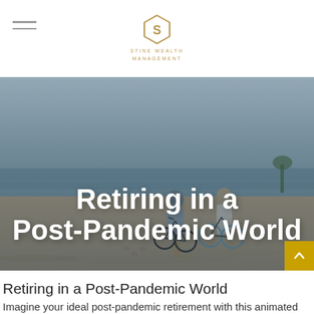STINE WEALTH MANAGEMENT
[Figure (photo): Two elderly people walking on a beach with bicycles, viewed from behind, with ocean waves and horizon in background. Title overlay reads 'Retiring in a Post-Pandemic World' in large white bold text.]
Retiring in a Post-Pandemic World
Imagine your ideal post-pandemic retirement with this animated